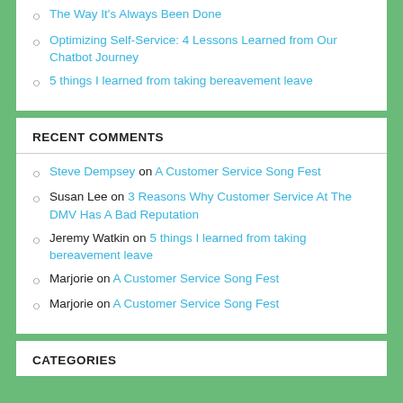The Way It's Always Been Done
Optimizing Self-Service: 4 Lessons Learned from Our Chatbot Journey
5 things I learned from taking bereavement leave
RECENT COMMENTS
Steve Dempsey on A Customer Service Song Fest
Susan Lee on 3 Reasons Why Customer Service At The DMV Has A Bad Reputation
Jeremy Watkin on 5 things I learned from taking bereavement leave
Marjorie on A Customer Service Song Fest
Marjorie on A Customer Service Song Fest
CATEGORIES